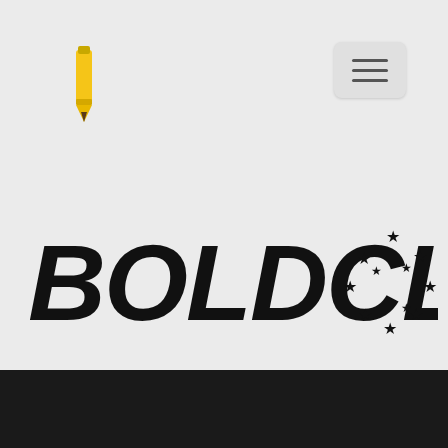[Figure (illustration): Yellow pencil/pen icon in top left corner of page]
[Figure (illustration): Hamburger menu button (three horizontal lines) in rounded rectangle, top right corner]
[Figure (logo): BOLDCLUB logo in large bold italic black text with a circular cluster of stars to the right. Black bar at bottom of page.]